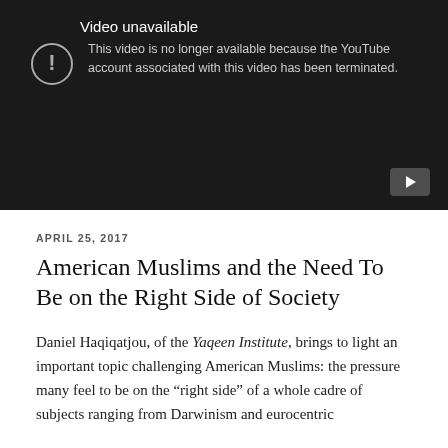[Figure (screenshot): YouTube video unavailable screen on dark background. Shows circle exclamation icon and text: 'Video unavailable. This video is no longer available because the YouTube account associated with this video has been terminated.' Play button icon at bottom right.]
APRIL 25, 2017
American Muslims and the Need To Be on the Right Side of Society
Daniel Haqiqatjou, of the Yaqeen Institute, brings to light an important topic challenging American Muslims: the pressure many feel to be on the "right side" of a whole cadre of subjects ranging from Darwinism and eurocentric